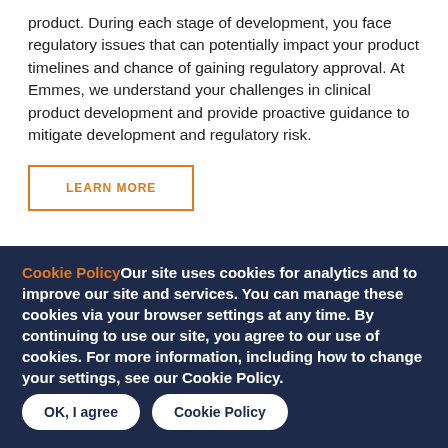product. During each stage of development, you face regulatory issues that can potentially impact your product timelines and chance of gaining regulatory approval. At Emmes, we understand your challenges in clinical product development and provide proactive guidance to mitigate development and regulatory risk.
LEARN MORE
Cookie Policy Our site uses cookies for analytics and to improve our site and services. You can manage these cookies via your browser settings at any time. By continuing to use our site, you agree to our use of cookies. For more information, including how to change your settings, see our Cookie Policy.
OK, I agree
Cookie Policy